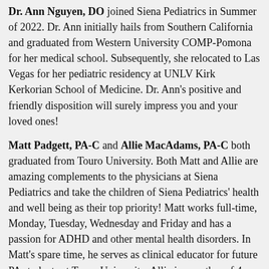Dr. Ann Nguyen, DO joined Siena Pediatrics in Summer of 2022. Dr. Ann initially hails from Southern California and graduated from Western University COMP-Pomona for her medical school. Subsequently, she relocated to Las Vegas for her pediatric residency at UNLV Kirk Kerkorian School of Medicine. Dr. Ann's positive and friendly disposition will surely impress you and your loved ones!
Matt Padgett, PA-C and Allie MacAdams, PA-C both graduated from Touro University. Both Matt and Allie are amazing complements to the physicians at Siena Pediatrics and take the children of Siena Pediatrics' health and well being as their top priority! Matt works full-time, Monday, Tuesday, Wednesday and Friday and has a passion for ADHD and other mental health disorders. In Matt's spare time, he serves as clinical educator for future PA students at Touro University. Allie is a mother of 4 children and is a certified lactation consultant. Siena Pediatrics is proud to announce this newest additional service!
Siena Pediatrics' location was designed with your child's health and well being in mind. We have the sick side completely separated from the well side. Our office is cleaned every business day to provide comfort, beauty, and sanitary conditions to keep your child as healthy and happy as possible. The medical providers at Siena Pediatrics strive everyday to make your experience at Siena Pediatrics a pleasant, caring process every